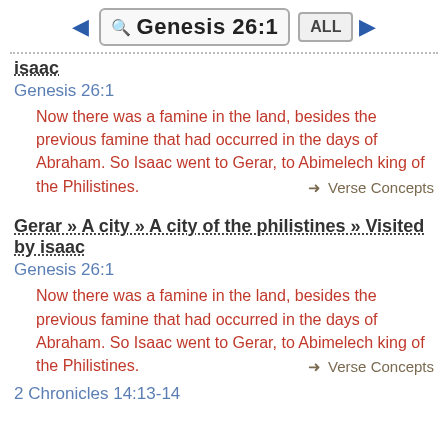Genesis 26:1
isaac
Genesis 26:1
Now there was a famine in the land, besides the previous famine that had occurred in the days of Abraham. So Isaac went to Gerar, to Abimelech king of the Philistines. ➡ Verse Concepts
Gerar » A city » A city of the philistines » Visited by isaac
Genesis 26:1
Now there was a famine in the land, besides the previous famine that had occurred in the days of Abraham. So Isaac went to Gerar, to Abimelech king of the Philistines. ➡ Verse Concepts
2 Chronicles 14:13-14